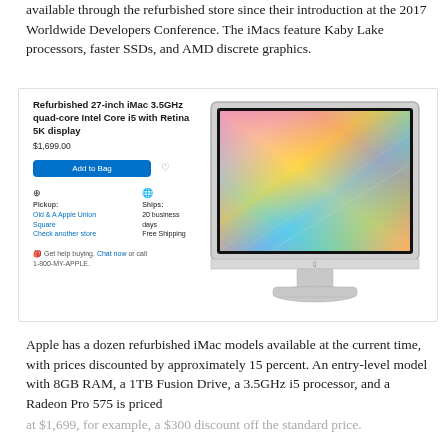available through the refurbished store since their introduction at the 2017 Worldwide Developers Conference. The iMacs feature Kaby Lake processors, faster SSDs, and AMD discrete graphics.
[Figure (screenshot): Apple refurbished store product listing for Refurbished 27-inch iMac 3.5GHz quad-core Intel Core i5 with Retina 5K display priced at $1,699.00, with Add to Bag button, pickup at Old & A Apple Union Square option, ships in 20 business days with Free Shipping, and chat/call support link. Next to the listing is an image of the iMac showing a colorful abstract display.]
Apple has a dozen refurbished iMac models available at the current time, with prices discounted by approximately 15 percent. An entry-level model with 8GB RAM, a 1TB Fusion Drive, a 3.5GHz i5 processor, and a Radeon Pro 575 is priced
at $1,699, for example, a $300 discount off the standard price.